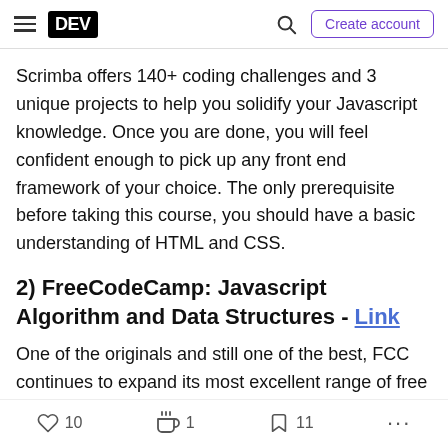DEV | Create account
Scrimba offers 140+ coding challenges and 3 unique projects to help you solidify your Javascript knowledge. Once you are done, you will feel confident enough to pick up any front end framework of your choice. The only prerequisite before taking this course, you should have a basic understanding of HTML and CSS.
2) FreeCodeCamp: Javascript Algorithm and Data Structures - Link
One of the originals and still one of the best, FCC continues to expand its most excellent range of free courses and this Javascript course is one of them.
10  1  11  ...